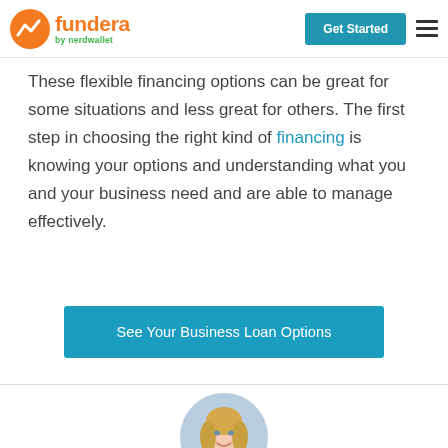fundera by nerdwallet | Get Started
These flexible financing options can be great for some situations and less great for others. The first step in choosing the right kind of financing is knowing your options and understanding what you and your business need and are able to manage effectively.
[Figure (other): Blue CTA button reading 'See Your Business Loan Options']
[Figure (photo): Circular profile photo of a blonde woman smiling, professional headshot]